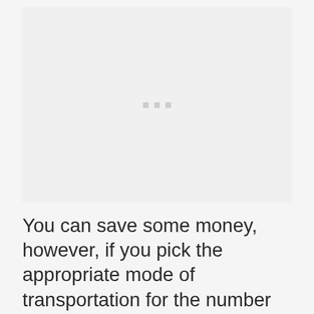[Figure (other): Placeholder image area with three small grey squares in the center, representing a loading or missing image.]
You can save some money, however, if you pick the appropriate mode of transportation for the number of people in your group. We usually suggest one of three ways: a cruise line shuttle, an